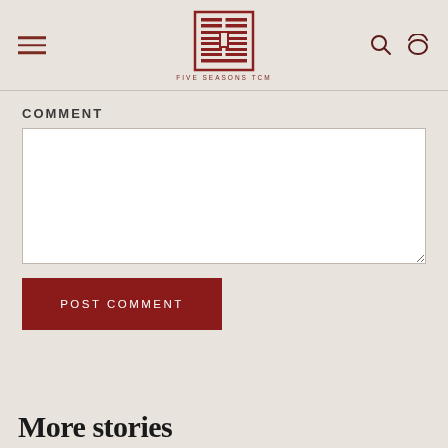[Figure (logo): Five Seasons TCM logo — a square geometric Chinese lattice pattern in dark red, with text 'FIVE SEASONS TCM' below]
COMMENT
(empty comment textarea)
POST COMMENT
More stories